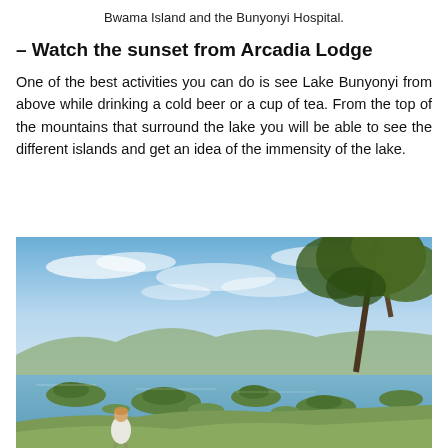Bwama Island and the Bunyonyi Hospital.
– Watch the sunset from Arcadia Lodge
One of the best activities you can do is see Lake Bunyonyi from above while drinking a cold beer or a cup of tea. From the top of the mountains that surround the lake you will be able to see the different islands and get an idea of the immensity of the lake.
[Figure (photo): A person standing on a hilltop overlooking Lake Bunyonyi in Uganda, with green islands dotting the water, a large tree on the right, and a partly cloudy blue sky above.]